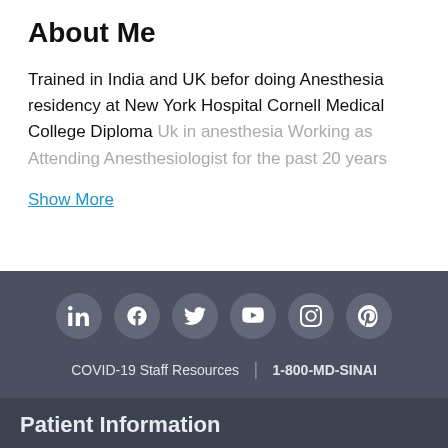About Me
Trained in India and UK befor doing Anesthesia residency at New York Hospital Cornell Medical College Diploma Uk in anesthesia Working as Attending Anesthesiologist for the past 20 years
Show More
[Figure (infographic): Row of six social media icon buttons (LinkedIn, Facebook, Twitter, YouTube, Instagram, Pinterest) on dark gray footer background]
COVID-19 Staff Resources | 1-800-MD-SINAI
Patient Information